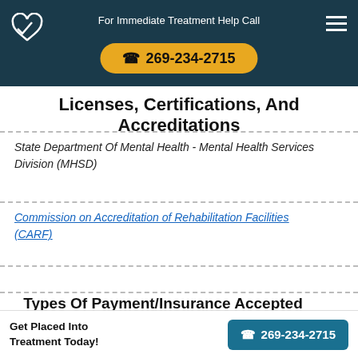For Immediate Treatment Help Call 269-234-2715
Licenses, Certifications, And Accreditations
State Department Of Mental Health - Mental Health Services Division (MHSD)
Commission on Accreditation of Rehabilitation Facilities (CARF)
Types Of Payment/Insurance Accepted For Treatment
Cash pay or private pay
Get Placed Into Treatment Today! 269-234-2715